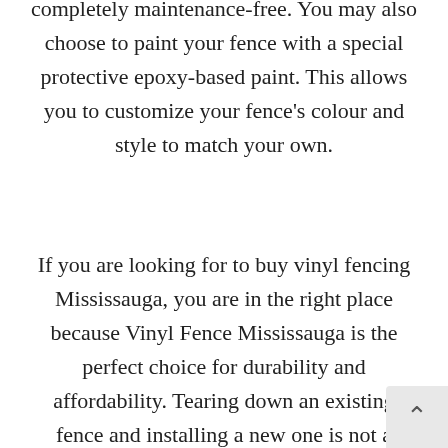completely maintenance-free. You may also choose to paint your fence with a special protective epoxy-based paint. This allows you to customize your fence's colour and style to match your own.
If you are looking for to buy vinyl fencing Mississauga, you are in the right place because Vinyl Fence Mississauga is the perfect choice for durability and affordability. Tearing down an existing fence and installing a new one is not a quick and easy job, but if you find yourself needing this, we can help. It's time to repla...